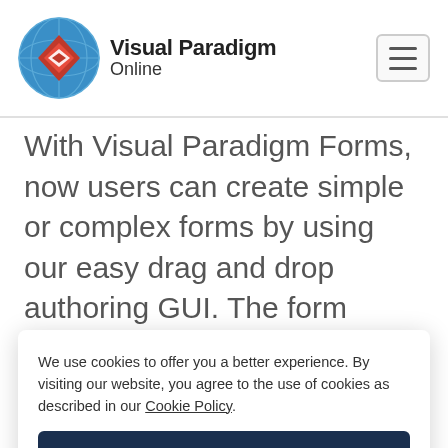Visual Paradigm Online
With Visual Paradigm Forms, now users can create simple or complex forms by using our easy drag and drop authoring GUI. The form builder empowers users to create online surveys, invitations, and contact forms and much more, so that they can collect the data, share, analysis them faster, better and
We use cookies to offer you a better experience. By visiting our website, you agree to the use of cookies as described in our Cookie Policy.
OK
Data collection - Shows the collected data as a